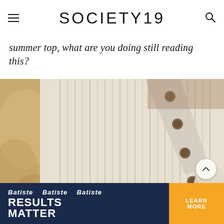SOCIETY19
summer top, what are you doing still reading this?
[Figure (photo): Close-up of a cream/beige ribbed knit crop top with decorative brown buttons along a diagonal front placket, worn over white pants. A fluffy textured jacket is visible at the left edge.]
[Figure (infographic): Batiste advertisement banner: 'RESULTS MATTER' in bold white text on dark background with product images, and 'LEARN MORE' button in orange.]